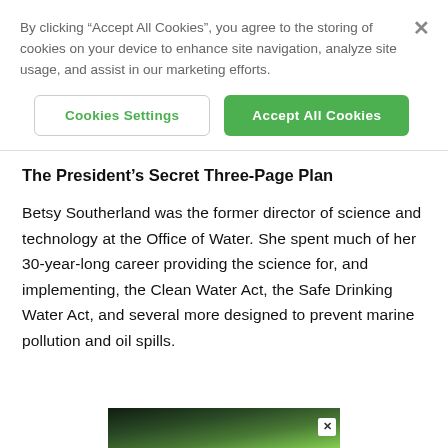By clicking “Accept All Cookies”, you agree to the storing of cookies on your device to enhance site navigation, analyze site usage, and assist in our marketing efforts.
Cookies Settings
Accept All Cookies
The President’s Secret Three-Page Plan
Betsy Southerland was the former director of science and technology at the Office of Water. She spent much of her 30-year-long career providing the science for, and implementing, the Clean Water Act, the Safe Drinking Water Act, and several more designed to prevent marine pollution and oil spills.
[Figure (photo): Partial advertisement image showing a dark green/nature scene at the bottom of the page with a close X button]